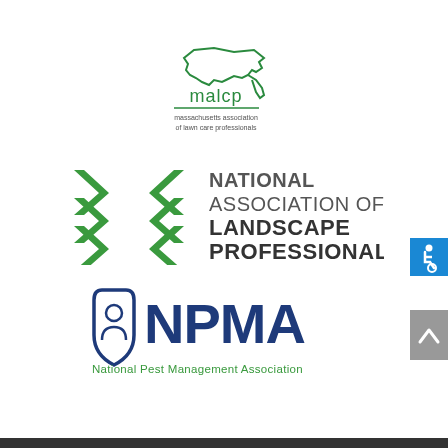[Figure (logo): MALCP logo - Massachusetts Association of Lawn Care Professionals, green outline of Massachusetts state with text 'malcp' and subtitle 'massachusetts association of lawn care professionals']
[Figure (logo): National Association of Landscape Professionals logo - green X pattern of chevrons on left, bold text 'NATIONAL ASSOCIATION OF LANDSCAPE PROFESSIONALS' in gray/dark on right]
[Figure (logo): NPMA logo - National Pest Management Association, shield icon with person figure on left, bold dark blue 'NPMA' text, subtitle 'National Pest Management Association' in green]
[Figure (illustration): Accessibility icon - white wheelchair symbol on blue background square]
[Figure (illustration): Scroll to top button - upward chevron arrow on gray background]